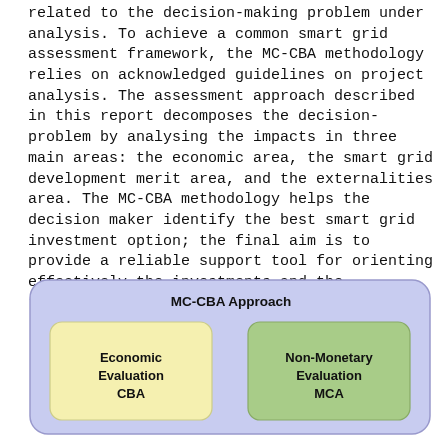related to the decision-making problem under analysis. To achieve a common smart grid assessment framework, the MC-CBA methodology relies on acknowledged guidelines on project analysis. The assessment approach described in this report decomposes the decision-problem by analysing the impacts in three main areas: the economic area, the smart grid development merit area, and the externalities area. The MC-CBA methodology helps the decision maker identify the best smart grid investment option; the final aim is to provide a reliable support tool for orienting effectively the investments and the regulatory policies on smart grids.
[Figure (infographic): MC-CBA Approach diagram showing a large light-blue rounded rectangle containing two sub-boxes: a yellow rounded rectangle labeled 'Economic Evaluation CBA' on the left, and a green rounded rectangle labeled 'Non-Monetary Evaluation MCA' on the right. The outer box is titled 'MC-CBA Approach' at the top.]